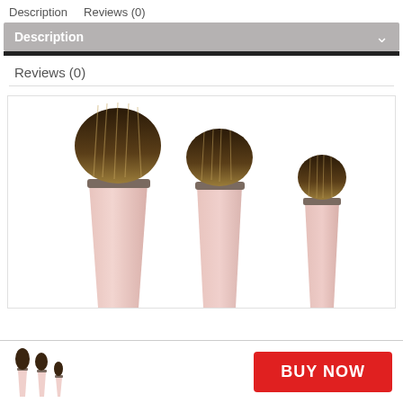Description   Reviews (0)
Description
Reviews (0)
[Figure (photo): Three makeup brushes with pink handles and dark bristles of varying sizes, displayed side by side against a white background. The brushes have flat oval-shaped tops.]
[Figure (photo): Small thumbnail preview of the three makeup brushes shown in the main image.]
BUY NOW